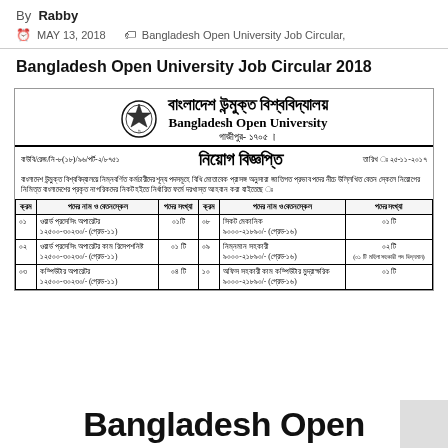By Rabby
MAY 13, 2018   Bangladesh Open University Job Circular,
Bangladesh Open University Job Circular 2018
[Figure (logo): Bangladesh Open University official logo with crest and Bengali/English title text]
নিয়োগ বিজ্ঞপ্তি - Bangladesh Open University job circular notice in Bengali with table of positions
| ক্রম | পদের নাম ও বেতনস্কেল | পদের সংখ্যা | ক্রম | পদের নাম ও বেতনস্কেল | পদের সংখ্যা |
| --- | --- | --- | --- | --- | --- |
| ০১ | ওয়ার্ড প্রসেসিং অপারেটর ১২৫০০-৩০২৩০/- (গ্রেড-১১) | ০১টি | ০৮ | সিকট মেকানিক ৯০০০-২১৮৯০/- (গ্রেড-১৬) | ০১ টি |
| ০২ | ওয়ার্ড প্রসেসিং অপারেটর কাম রিসেপশনিষ্ট ১২৫০০-৩০২৩০/- (গ্রেড-১১) | ০১ টি | ০৯ | নিম্নমান সহকারী ৯০০০-২১৮৯০/- (গ্রেড-১৬) | ০২ টি (০১ টি মহিলা সহকারী পদ বিদ্যমান) |
| ০৩ | কম্পিউটার অপারেটর ১২৫০০-৩০২৩০/- (গ্রেড-১১) | ০৪ টি | ১০ | অফিস সহকারী কাম কম্পিউটার মুদ্রাক্ষরিক ৯০০০-২১৮৯০/- (গ্রেড-১৬) | ০১ টি |
Bangladesh Open